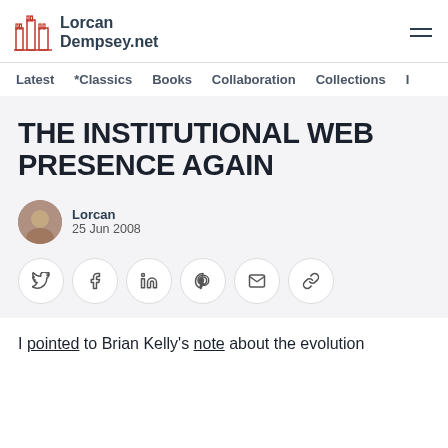LorcanDempsey.net
Latest  *Classics  Books  Collaboration  Collections  I…
THE INSTITUTIONAL WEB PRESENCE AGAIN
Lorcan
25 Jun 2008
I pointed to Brian Kelly's note about the evolution